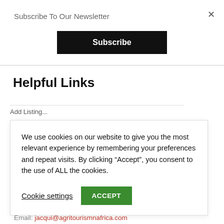Subscribe To Our Newsletter
[Figure (other): Subscribe button — black rectangular button with white bold text 'Subscribe']
Helpful Links
Add Listing... (partially visible)
We use cookies on our website to give you the most relevant experience by remembering your preferences and repeat visits. By clicking “Accept”, you consent to the use of ALL the cookies.
Cookie settings  ACCEPT
Email: jacqui@agritourismnafrica.com